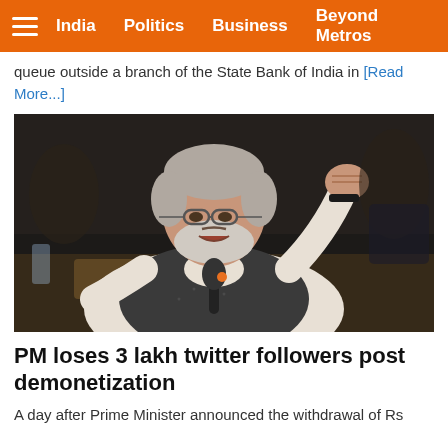India | Politics | Business | Beyond Metros
queue outside a branch of the State Bank of India in [Read More...]
[Figure (photo): Prime Minister Narendra Modi speaking at a podium, raising his right fist, wearing a dark nehru jacket over a white shirt, with a microphone in front of him, against a dark background.]
PM loses 3 lakh twitter followers post demonetization
A day after Prime Minister announced the withdrawal of Rs